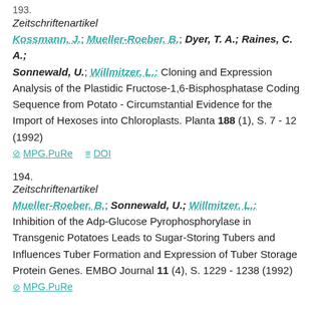193.
Zeitschriftenartikel
Kossmann, J.; Mueller-Roeber, B.; Dyer, T. A.; Raines, C. A.; Sonnewald, U.; Willmitzer, L.: Cloning and Expression Analysis of the Plastidic Fructose-1,6-Bisphosphatase Coding Sequence from Potato - Circumstantial Evidence for the Import of Hexoses into Chloroplasts. Planta 188 (1), S. 7 - 12 (1992)
MPG.PuRe   DOI
194.
Zeitschriftenartikel
Mueller-Roeber, B.; Sonnewald, U.; Willmitzer, L.: Inhibition of the Adp-Glucose Pyrophosphorylase in Transgenic Potatoes Leads to Sugar-Storing Tubers and Influences Tuber Formation and Expression of Tuber Storage Protein Genes. EMBO Journal 11 (4), S. 1229 - 1238 (1992)
MPG.PuRe